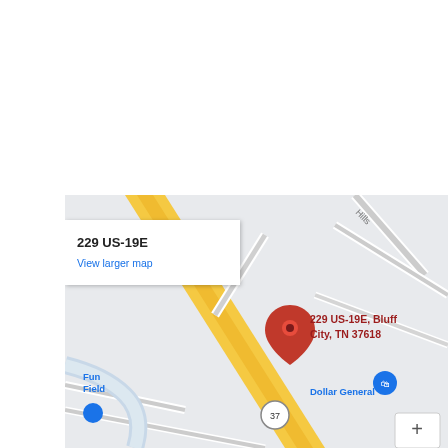[Figure (map): Google Maps screenshot showing 229 US-19E, Bluff City, TN 37618. The map displays a street intersection with a yellow diagonal road (US-19E/Route 37), surrounding gray streets, a red location pin marker labeled '229 US-19E, Bluff City, TN 37618', a Dollar General store marker, a Fun Field marker, and a white popup box in the upper left showing '229 US-19E' in bold with a blue 'View larger map' link. A zoom-in (+) button appears in the lower right corner of the map.]